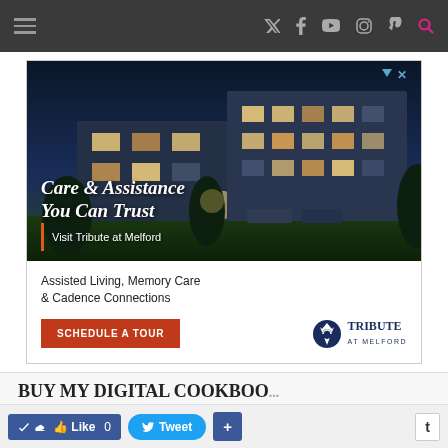Navigation bar with hamburger menu and social icons: Twitter, Facebook, YouTube, Instagram, Pinterest, Search
[Figure (photo): Advertisement banner for Tribute at Melford senior living. Top portion shows a nighttime photo of a multi-story building with warm interior lights. Overlay text reads 'Care & Assistance You Can Trust' and 'Visit Tribute at Melford'. Lower white area shows 'Assisted Living, Memory Care & Cadence Connections' with a red 'SCHEDULE A TOUR' button and the Tribute at Melford logo.]
Assisted Living, Memory Care & Cadence Connections
SCHEDULE A TOUR
BUY MY DIGITAL COOKBOO...
Like 0   Tweet   +   t